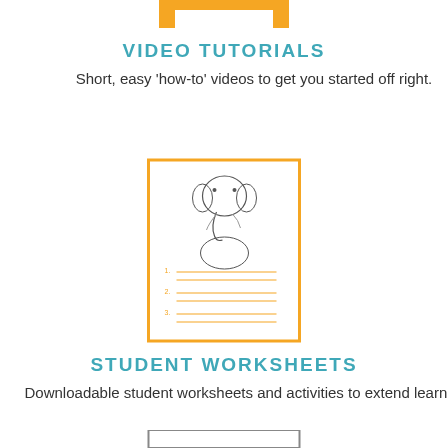[Figure (illustration): Orange bed/table icon at top of page]
VIDEO TUTORIALS
Short, easy 'how-to' videos to get you started off right.
[Figure (illustration): Worksheet icon with orange border, elephant sketch, and numbered lines]
STUDENT WORKSHEETS
Downloadable student worksheets and activities to extend learning.
[Figure (illustration): Partially visible icon at bottom of page]